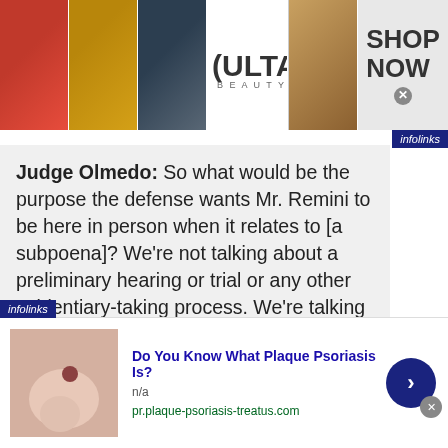[Figure (screenshot): Top banner advertisement for Ulta Beauty with makeup images (lips, brush, eye), Ulta logo, eye image, and SHOP NOW button]
Judge Olmedo: So what would be the purpose the defense wants Mr. Remini to be here in person when it relates to [a subpoena]? We're not talking about a preliminary hearing or trial or any other evidentiary-taking process. We're talking about someone bringing documents to court, ostensibly, for [a subpoena]. So I have yet to see,
[Figure (screenshot): Bottom advertisement: 'Do You Know What Plaque Psoriasis Is?' with thumbnail image of skin, n/a text, URL pr.plaque-psoriasis-treatus.com, and blue arrow button]